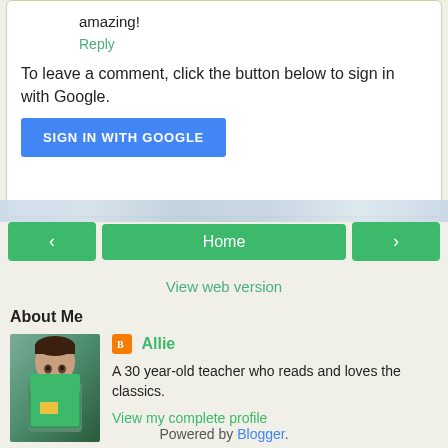amazing!
Reply
To leave a comment, click the button below to sign in with Google.
SIGN IN WITH GOOGLE
‹
Home
›
View web version
About Me
[Figure (photo): Profile photo of a person holding a green book in front of their face]
Allie
A 30 year-old teacher who reads and loves the classics.
View my complete profile
Powered by Blogger.